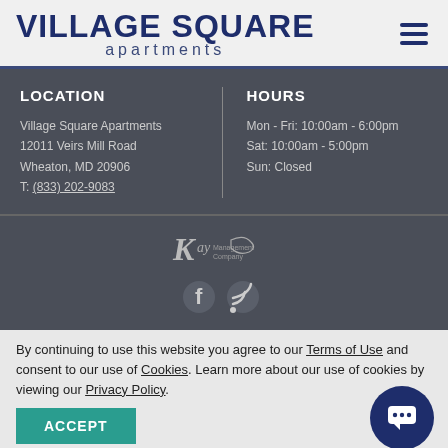VILLAGE SQUARE apartments
LOCATION
Village Square Apartments
12011 Veirs Mill Road
Wheaton, MD 20906
T: (833) 202-9083
HOURS
Mon - Fri: 10:00am - 6:00pm
Sat: 10:00am - 5:00pm
Sun: Closed
[Figure (logo): Kay Management Company logo]
[Figure (illustration): Facebook and RSS social media icons]
By continuing to use this website you agree to our Terms of Use and consent to our use of Cookies. Learn more about our use of cookies by viewing our Privacy Policy.
ACCEPT